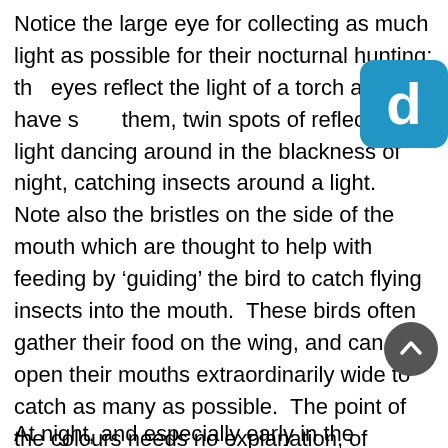Notice the large eye for collecting as much light as possible for their nocturnal hunting: the eyes reflect the light of a torch and I have seen them, twin spots of reflected light dancing around in the blackness of night, catching insects around a light.  Note also the bristles on the side of the mouth which are thought to help with feeding by 'guiding' the bird to catch flying insects into the mouth.  These birds often gather their food on the wing, and can open their mouths extraordinarily wide to catch as many as possible.  The point of the colours needs no explanation, of course.  The camouflage is very effective.
[Figure (logo): Blue rounded square logo badge with white letter 'd']
[Figure (other): Dark grey circular scroll-up button with white upward chevron arrow]
At night, and especially early in the morning...